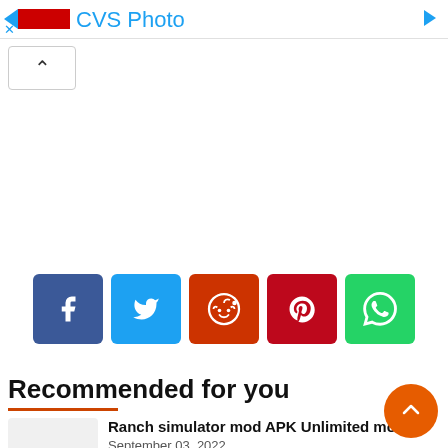[Figure (screenshot): CVS Photo advertisement banner with red rectangle logo, cyan play icon, blue CVS Photo text, and right arrow]
[Figure (screenshot): Collapse/up-arrow button]
[Figure (screenshot): Social share buttons: Facebook (blue), Twitter (light blue), Reddit (dark red), Pinterest (red), WhatsApp (green)]
Recommended for you
Ranch simulator mod APK Unlimited mo…
September 03, 2022